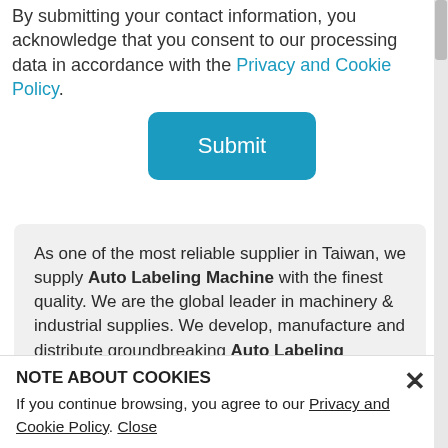By submitting your contact information, you acknowledge that you consent to our processing data in accordance with the Privacy and Cookie Policy.
Submit
As one of the most reliable supplier in Taiwan, we supply Auto Labeling Machine with the finest quality. We are the global leader in machinery & industrial supplies. We develop, manufacture and distribute groundbreaking Auto Labeling Machine that shatter the status quo and help customers gain and maintain a competitive edge. After knowing the above information, if you want to know more, please come to us. We will provide the information you need and the high quality Auto Labeling Machine to you at the best price.
NOTE ABOUT COOKIES
If you continue browsing, you agree to our Privacy and Cookie Policy. Close